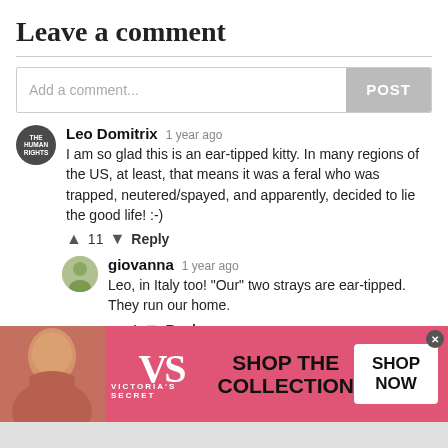Leave a comment
Add a comment...
Leo Domitrix  1 year ago
I am so glad this is an ear-tipped kitty. In many regions of the US, at least, that means it was a feral who was trapped, neutered/spayed, and apparently, decided to lie the good life! :-)
↑ 11 ↓  Reply
giovanna  1 year ago
Leo, in Italy too! "Our" two strays are ear-tipped. They run our home.
↑ 4 ↓  Reply
Load More Replies
[Figure (screenshot): Victoria's Secret advertisement banner with pink background, model photo on left, VS logo in center, 'SHOP THE COLLECTION' text, and 'SHOP NOW' button on right]